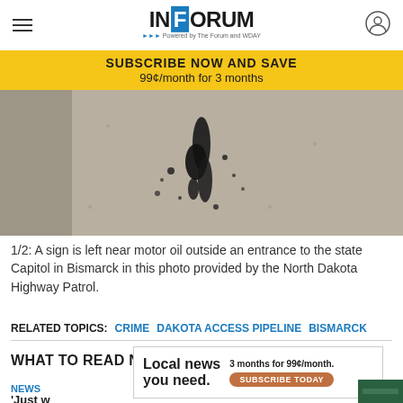INFORUM - Powered by The Forum and WDAY
SUBSCRIBE NOW AND SAVE
99¢/month for 3 months
[Figure (photo): Motor oil spilled on pavement outside an entrance to the state Capitol in Bismarck, photo provided by the North Dakota Highway Patrol.]
1/2: A sign is left near motor oil outside an entrance to the state Capitol in Bismarck in this photo provided by the North Dakota Highway Patrol.
RELATED TOPICS:  CRIME  DAKOTA ACCESS PIPELINE  BISMARCK
WHAT TO READ NEXT
NEWS
Local news you need.  3 months for 99¢/month.  SUBSCRIBE TODAY
'Just w...